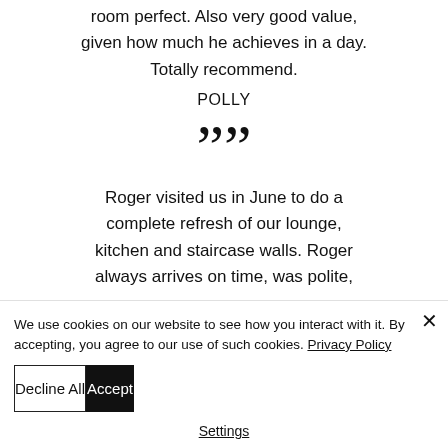room perfect. Also very good value, given how much he achieves in a day. Totally recommend.
POLLY
””
Roger visited us in June to do a complete refresh of our lounge, kitchen and staircase walls. Roger always arrives on time, was polite,
We use cookies on our website to see how you interact with it. By accepting, you agree to our use of such cookies. Privacy Policy
Decline All
Accept
Settings